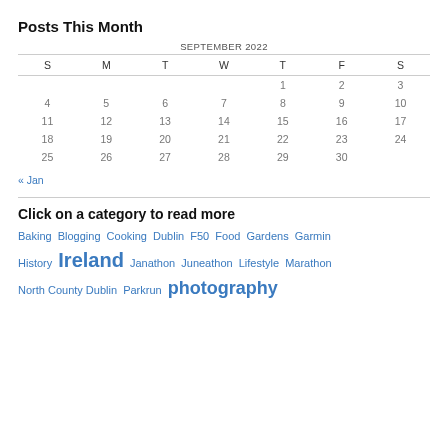Posts This Month
| S | M | T | W | T | F | S |
| --- | --- | --- | --- | --- | --- | --- |
|  |  |  |  | 1 | 2 | 3 |
| 4 | 5 | 6 | 7 | 8 | 9 | 10 |
| 11 | 12 | 13 | 14 | 15 | 16 | 17 |
| 18 | 19 | 20 | 21 | 22 | 23 | 24 |
| 25 | 26 | 27 | 28 | 29 | 30 |  |
« Jan
Click on a category to read more
Baking  Blogging  Cooking  Dublin  F50  Food  Gardens  Garmin  History  Ireland  Janathon  Juneathon  Lifestyle  Marathon  North County Dublin  Parkrun  photography